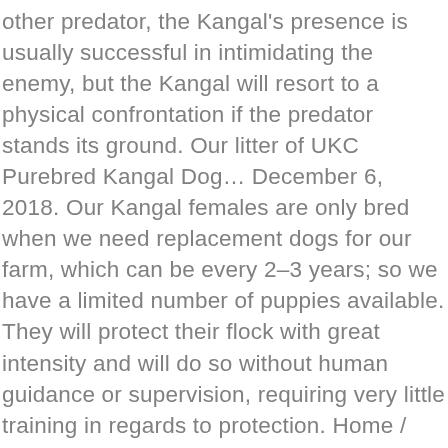other predator, the Kangal's presence is usually successful in intimidating the enemy, but the Kangal will resort to a physical confrontation if the predator stands its ground. Our litter of UKC Purebred Kangal Dog… December 6, 2018. Our Kangal females are only bred when we need replacement dogs for our farm, which can be every 2–3 years; so we have a limited number of puppies available. They will protect their flock with great intensity and will do so without human guidance or supervision, requiring very little training in regards to protection. Home / Dog Breeds / Puppies For Sale / Anatolian Shepherd Puppies / Puppies For Sale + Dyson. Ads 1– 8 of 2,462 . All different ages. Show Potential. These pups will be perfect guard dogs they are bred from an Alabai dog as their father and a Kangal dog as their mother. There are Comarkaan pups on the ground right now (August 2018) and available for